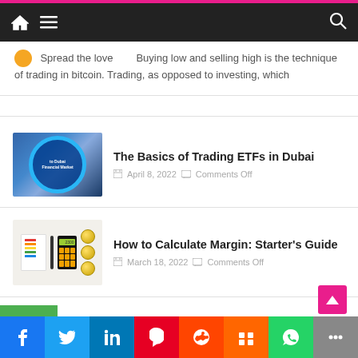Navigation bar with home, menu, and search icons
Spread the love   Buying low and selling high is the technique of trading in bitcoin. Trading, as opposed to investing, which
The Basics of Trading ETFs in Dubai
April 8, 2022   Comments Off
How to Calculate Margin: Starter's Guide
March 18, 2022   Comments Off
Social share bar: Facebook, Twitter, LinkedIn, Pinterest, Reddit, Mix, WhatsApp, More